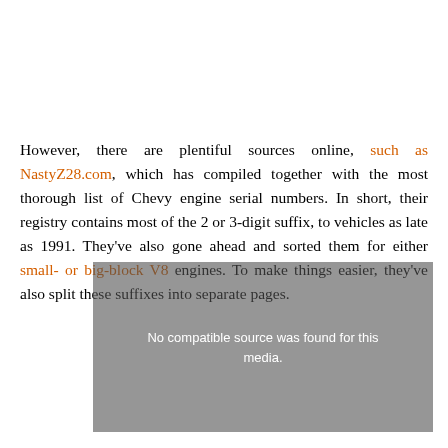However, there are plentiful sources online, such as NastyZ28.com, which has compiled together with the most thorough list of Chevy engine serial numbers. In short, their registry contains most of the 2 or 3-digit suffix, to vehicles as late as 1991. They've also gone ahead and sorted them for either small- or big-block V8 engines. To make things easier, they've also split these suffixes into separate pages.
[Figure (other): Video player overlay showing 'No compatible source was found for this media.' message over a blurred background image]
[Figure (other): Pure Earth advertisement banner: 'We believe the global pollution crisis can be solved. In a world where pollution doesn't stop at borders, we can all be part of the solution. JOIN US.' with Pure Earth logo.]